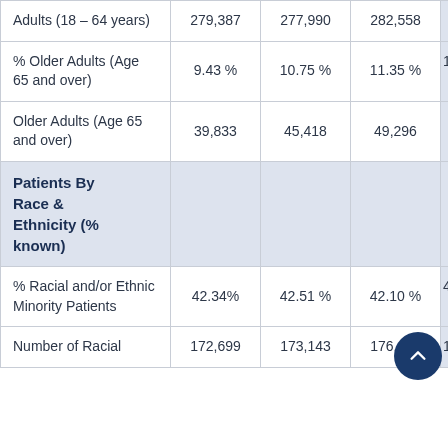|  | Col1 | Col2 | Col3 | Col4 |
| --- | --- | --- | --- | --- |
| Adults (18 – 64 years) | 279,387 | 277,990 | 282,558 |  |
| % Older Adults (Age 65 and over) | 9.43 % | 10.75 % | 11.35 % | 1 |
| Older Adults (Age 65 and over) | 39,833 | 45,418 | 49,296 |  |
| Patients By Race & Ethnicity (% known) |  |  |  |  |
| % Racial and/or Ethnic Minority Patients | 42.34% | 42.51 % | 42.10 % | 4 |
| Number of Racial | 172,699 | 173,143 | 176,460 | 1 |